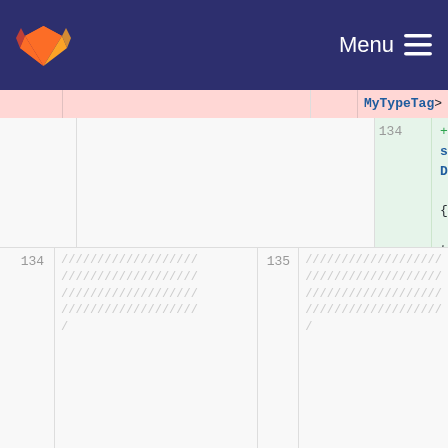[Figure (screenshot): GitLab navigation bar with logo and Menu button]
MyTypeTag>
134  +  struct DiscretizationSubmethod { using type = UndefinedProperty; }; //!< The type used for an mpfa submethod belonging to a specific family of schemes
134  /////////////////  135  /////////////////